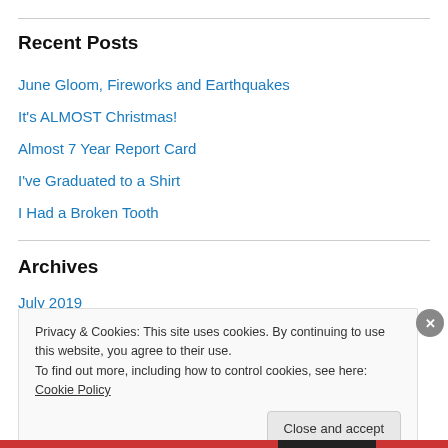Recent Posts
June Gloom, Fireworks and Earthquakes
It's ALMOST Christmas!
Almost 7 Year Report Card
I've Graduated to a Shirt
I Had a Broken Tooth
Archives
July 2019
Privacy & Cookies: This site uses cookies. By continuing to use this website, you agree to their use. To find out more, including how to control cookies, see here: Cookie Policy
Close and accept